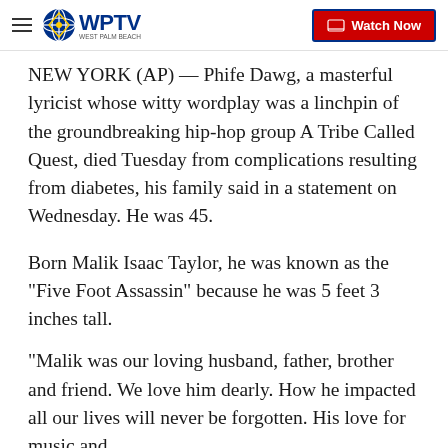WPTV — Watch Now
NEW YORK (AP) — Phife Dawg, a masterful lyricist whose witty wordplay was a linchpin of the groundbreaking hip-hop group A Tribe Called Quest, died Tuesday from complications resulting from diabetes, his family said in a statement on Wednesday. He was 45.
Born Malik Isaac Taylor, he was known as the "Five Foot Assassin" because he was 5 feet 3 inches tall.
"Malik was our loving husband, father, brother and friend. We love him dearly. How he impacted all our lives will never be forgotten. His love for music and